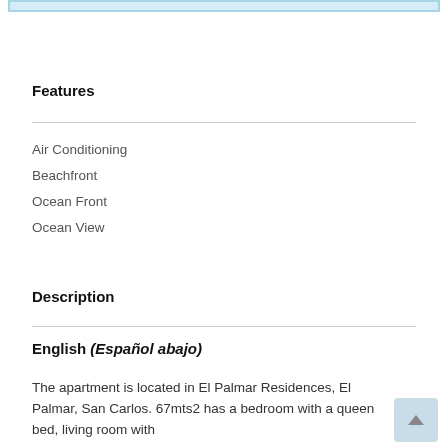Features
Air Conditioning
Beachfront
Ocean Front
Ocean View
Description
English (Español abajo)
The apartment is located in El Palmar Residences, El Palmar, San Carlos. 67mts2 has a bedroom with a queen bed, living room with